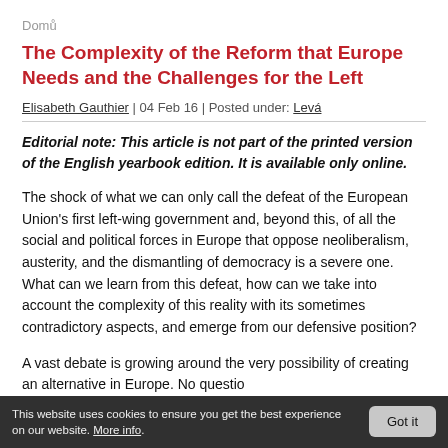Domů
The Complexity of the Reform that Europe Needs and the Challenges for the Left
Elisabeth Gauthier | 04 Feb 16 | Posted under: Levá
Editorial note: This article is not part of the printed version of the English yearbook edition. It is available only online.
The shock of what we can only call the defeat of the European Union's first left-wing government and, beyond this, of all the social and political forces in Europe that oppose neoliberalism, austerity, and the dismantling of democracy is a severe one. What can we learn from this defeat, how can we take into account the complexity of this reality with its sometimes contradictory aspects, and emerge from our defensive position?
A vast debate is growing around the very possibility of creating an alternative in Europe. No questio…
This website uses cookies to ensure you get the best experience on our website. More info.